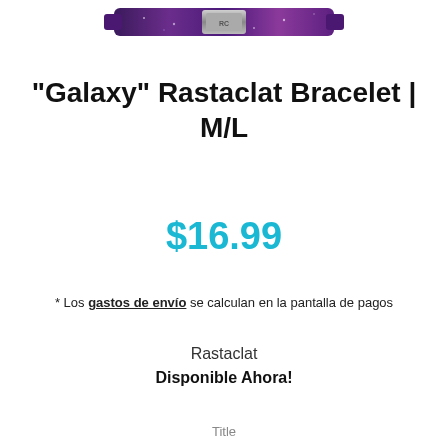[Figure (photo): Partial view of a Galaxy Rastaclat bracelet product photo, cropped at the top of the page showing the bracelet against a white background.]
"Galaxy" Rastaclat Bracelet | M/L
$16.99
* Los gastos de envío se calculan en la pantalla de pagos
Rastaclat
Disponible Ahora!
Title